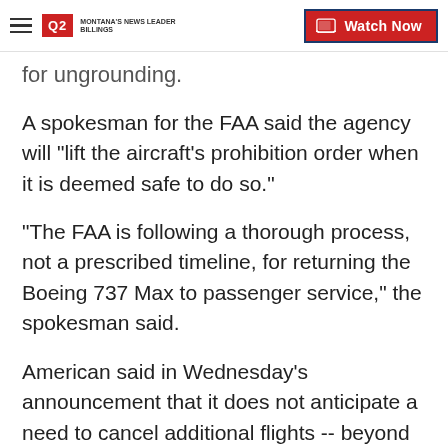Q2 Montana's News Leader Billings | Watch Now
for ungrounding.
A spokesman for the FAA said the agency will "lift the aircraft's prohibition order when it is deemed safe to do so."
"The FAA is following a thorough process, not a prescribed timeline, for returning the Boeing 737 Max to passenger service," the spokesman said.
American said in Wednesday's announcement that it does not anticipate a need to cancel additional flights -- beyond those already announced in December -- during the busy holiday season due to the unavailability of the plane.